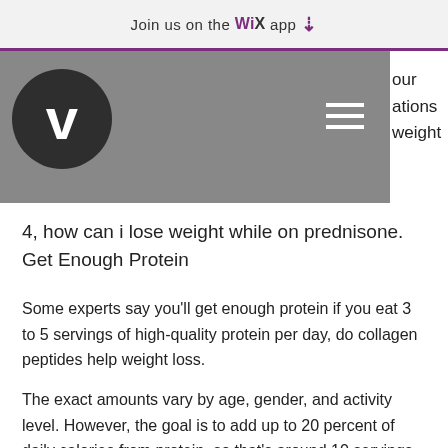Join us on the WiX app ⬇
[Figure (screenshot): Website navigation bar with dark circular logo featuring a white V, a hamburger menu icon, and partial text on the right reading 'our', 'ations', 'weight']
4, how can i lose weight while on prednisone. Get Enough Protein
Some experts say you'll get enough protein if you eat 3 to 5 servings of high-quality protein per day, do collagen peptides help weight loss.
The exact amounts vary by age, gender, and activity level. However, the goal is to add up to 20 percent of daily calories from protein, so that's around 10 servings for each of us (about 12 servings for women and 10 servings for men; 6, i how weight lose on can